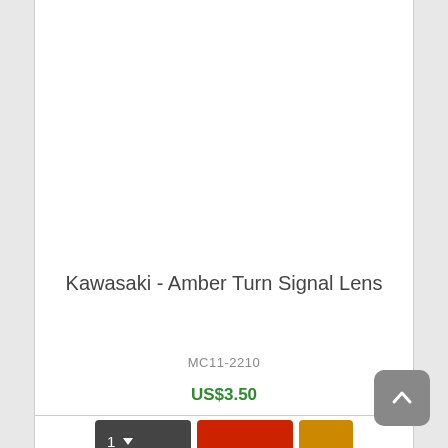Kawasaki - Amber Turn Signal Lens
MC11-2210
US$3.50